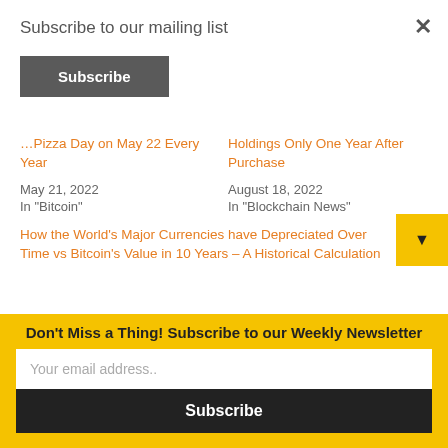Subscribe to our mailing list
Subscribe
Pizza Day on May 22 Every Year
May 21, 2022
In "Bitcoin"
Holdings Only One Year After Purchase
August 18, 2022
In "Blockchain News"
How the World's Major Currencies have Depreciated Over Time vs Bitcoin's Value in 10 Years – A Historical Calculation
June 6, 2020
In "Bitcoin"
Don't Miss a Thing! Subscribe to our Weekly Newsletter
Your email address..
Subscribe